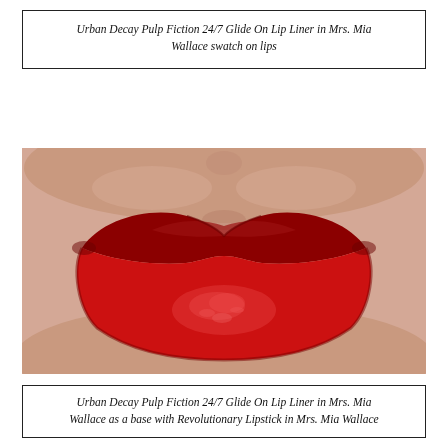Urban Decay Pulp Fiction 24/7 Glide On Lip Liner in Mrs. Mia Wallace swatch on lips
[Figure (photo): Close-up photo of lips wearing a deep red/crimson lip liner and lipstick, shown on fair skin. The lips are fully colored in a rich, dark red shade with slight shimmer visible in the center of the lower lip.]
Urban Decay Pulp Fiction 24/7 Glide On Lip Liner in Mrs. Mia Wallace as a base with Revolutionary Lipstick in Mrs. Mia Wallace